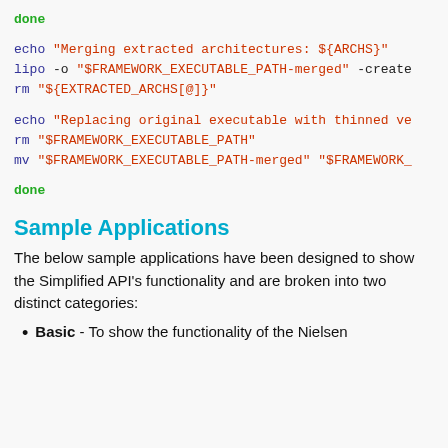done
echo "Merging extracted architectures: ${ARCHS}"
lipo -o "$FRAMEWORK_EXECUTABLE_PATH-merged" -create
rm "${EXTRACTED_ARCHS[@]}"
echo "Replacing original executable with thinned ve
rm "$FRAMEWORK_EXECUTABLE_PATH"
mv "$FRAMEWORK_EXECUTABLE_PATH-merged" "$FRAMEWORK_
done
Sample Applications
The below sample applications have been designed to show the Simplified API's functionality and are broken into two distinct categories:
Basic - To show the functionality of the Nielsen